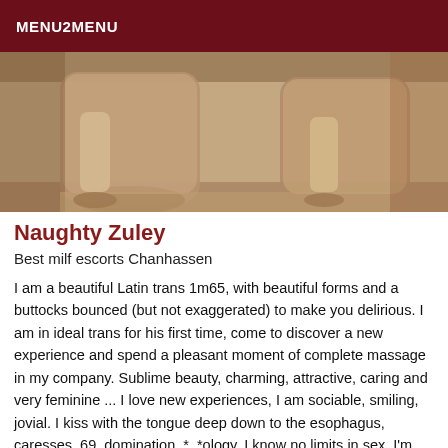MENU2MENU
[Figure (photo): Close-up photo of high-heeled shoes on a floor]
Naughty Zuley
Best milf escorts Chanhassen
I am a beautiful Latin trans 1m65, with beautiful forms and a buttocks bounced (but not exaggerated) to make you delirious. I am in ideal trans for his first time, come to discover a new experience and spend a pleasant moment of complete massage in my company. Sublime beauty, charming, attractive, caring and very feminine ... I love new experiences, I am sociable, smiling, jovial. I kiss with the tongue deep down to the esophagus, caresses, 69, domination, *, *ology, I know no limits in sex, I'm very open to new discoveries too, it's enough to suggest them to me. I'll say yes... I want to fuck you in